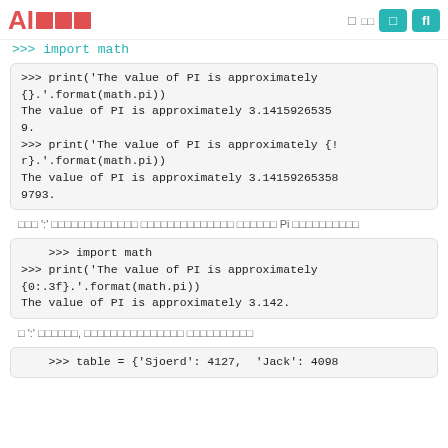AI□□□
>>> import math
>>> print('The value of PI is approximately {}.'.format(math.pi))
The value of PI is approximately 3.141592653589.
>>> print('The value of PI is approximately {!r}.'.format(math.pi))
The value of PI is approximately 3.141592653589793.
□□□ ':' □□□□□□□□□□□□□ □□□□□□□□□□□□□□ □□□□□□ Pi □□□□□□□□□□
>>> import math
>>> print('The value of PI is approximately {0:.3f}.'.format(math.pi))
The value of PI is approximately 3.142.
□ ':' □□□□□□, □□□□□□□□□□□□□□□ □□□□□□□□□□
>>> table = {'Sjoerd': 4127,  'Jack': 4098